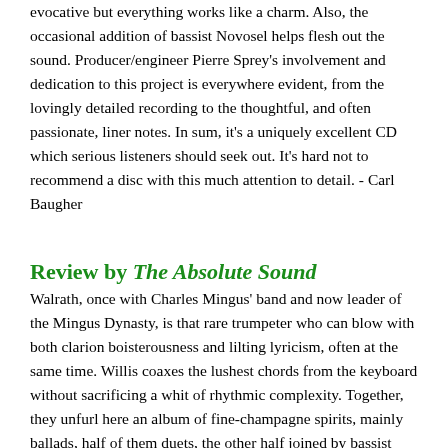evocative but everything works like a charm. Also, the occasional addition of bassist Novosel helps flesh out the sound. Producer/engineer Pierre Sprey's involvement and dedication to this project is everywhere evident, from the lovingly detailed recording to the thoughtful, and often passionate, liner notes. In sum, it's a uniquely excellent CD which serious listeners should seek out. It's hard not to recommend a disc with this much attention to detail. - Carl Baugher
Review by The Absolute Sound
Walrath, once with Charles Mingus' band and now leader of the Mingus Dynasty, is that rare trumpeter who can blow with both clarion boisterousness and lilting lyricism, often at the same time. Willis coaxes the lushest chords from the keyboard without sacrificing a whit of rhythmic complexity. Together, they unfurl here an album of fine-champagne spirits, mainly ballads, half of them duets, the other half joined by bassist Steve Novosel, an unsung staple of the Washington, DC jazz scene. This is a cozy but still harmonically eye-raising disk: the back jacket goes too far in saying that it